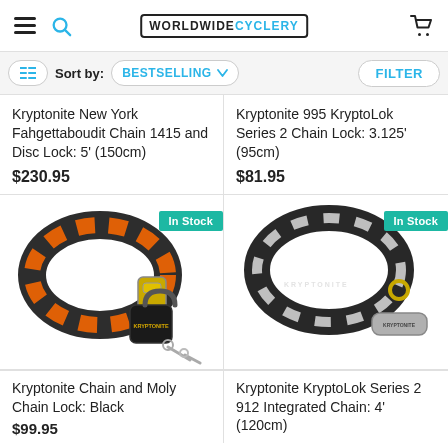Worldwide Cyclery
Sort by: BESTSELLING | FILTER
Kryptonite New York Fahgettaboudit Chain 1415 and Disc Lock: 5' (150cm)
$230.95
Kryptonite 995 KryptoLok Series 2 Chain Lock: 3.125' (95cm)
$81.95
[Figure (photo): Kryptonite chain and moly chain lock in black and orange with padlock and keys, In Stock badge]
[Figure (photo): Kryptonite KryptoLok Series 2 912 integrated chain in black and white with cylinder lock, In Stock badge]
Kryptonite Chain and Moly Chain Lock: Black
$99.95
Kryptonite KryptoLok Series 2 912 Integrated Chain: 4' (120cm)